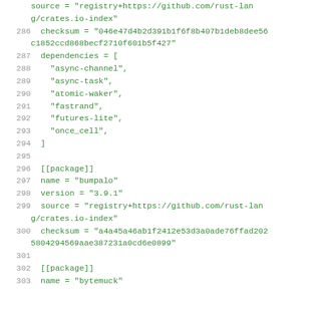285  source = "registry+https://github.com/rust-lang/crates.io-index"
286  checksum = "046e47d4b2d391b1f6f8b407b1deb8dee56c1852ccd868becf2710f601b5f427"
287  dependencies = [
288    "async-channel",
289    "async-task",
290    "atomic-waker",
291    "fastrand",
292    "futures-lite",
293    "once_cell",
294  ]
295
296  [[package]]
297  name = "bumpalo"
298  version = "3.9.1"
299  source = "registry+https://github.com/rust-lang/crates.io-index"
300  checksum = "a4a45a46ab1f2412e53d3a0ade76ffad2025804294569aae387231a0cd6e0899"
301
302  [[package]]
303  name = "bytemuck"